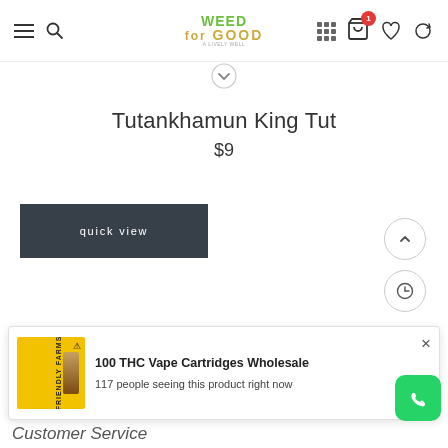[Figure (screenshot): WeedGood website header with hamburger menu, search icon, logo, grid icon, cart with badge (1), heart icon, and refresh icon]
Tutankhamun King Tut
$9
quick view
[Figure (screenshot): 100 THC Vape Cartridges Wholesale popup banner showing Friendly Farms product image, title, and viewer count]
100 THC Vape Cartridges Wholesale
117 people seeing this product right now
Customer Service